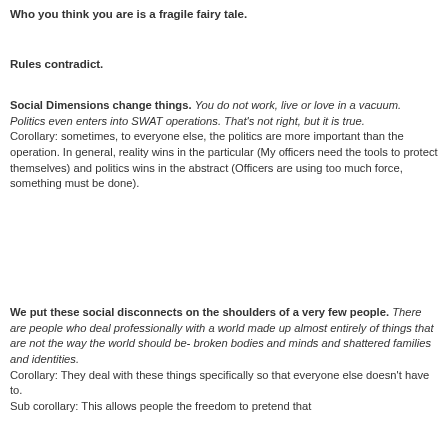Who you think you are is a fragile fairy tale.
Rules contradict.
Social Dimensions change things. You do not work, live or love in a vacuum. Politics even enters into SWAT operations. That's not right, but it is true. Corollary: sometimes, to everyone else, the politics are more important than the operation. In general, reality wins in the particular (My officers need the tools to protect themselves) and politics wins in the abstract (Officers are using too much force, something must be done).
We put these social disconnects on the shoulders of a very few people. There are people who deal professionally with a world made up almost entirely of things that are not the way the world should be- broken bodies and minds and shattered families and identities. Corollary: They deal with these things specifically so that everyone else doesn't have to. Sub corollary: This allows people the freedom to pretend that